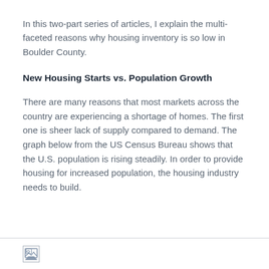In this two-part series of articles, I explain the multi-faceted reasons why housing inventory is so low in Boulder County.
New Housing Starts vs. Population Growth
There are many reasons that most markets across the country are experiencing a shortage of homes. The first one is sheer lack of supply compared to demand. The graph below from the US Census Bureau shows that the U.S. population is rising steadily. In order to provide housing for increased population, the housing industry needs to build.
[Figure (photo): Broken image placeholder at the bottom of the page, representing a chart from the US Census Bureau about housing starts vs population growth.]